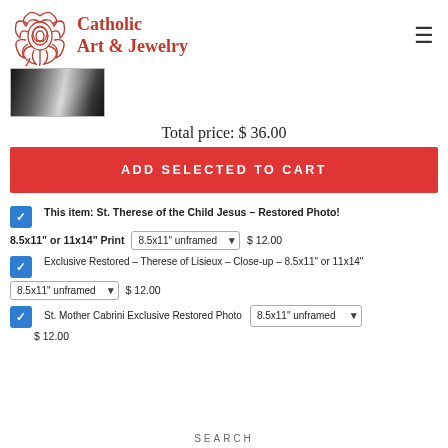Catholic Art & Jewelry
[Figure (photo): Thumbnail black and white photo in header]
Total price: $ 36.00
ADD SELECTED TO CART
This item: St. Therese of the Child Jesus – Restored Photo! 8.5x11" or 11x14" Print  8.5x11" unframed  $ 12.00
Exclusive Restored – Therese of Lisieux – Close-up – 8.5x11" or 11x14"  8.5x11" unframed  $ 12.00
St. Mother Cabrini Exclusive Restored Photo  8.5x11" unframed  $ 12.00
SEARCH